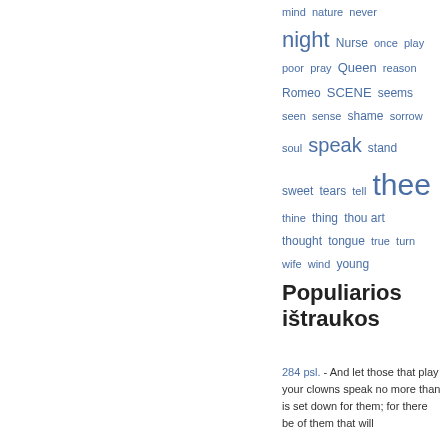[Figure (other): Word cloud of terms in blue including: mind, nature, never, night (large), Nurse, once, play, poor, pray, Queen, reason, Romeo, SCENE, seems, seen, sense, shame, sorrow, soul, speak (large), stand, sweet, tears, tell, thee (xlarge), thine, thing, thou art, thought, tongue, true, turn, wife, wind, young]
Populiarios ištraukos
284 psl. - And let those that play your clowns speak no more than is set down for them; for there be of them that will